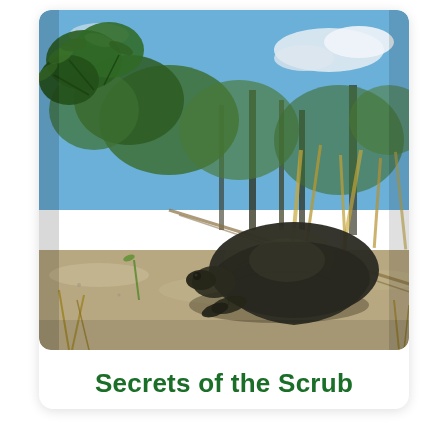[Figure (photo): A gopher tortoise resting low on sandy scrub ground, surrounded by dry grasses, green leafy shrubs, and blurred background of palms and blue sky with clouds.]
Secrets of the Scrub